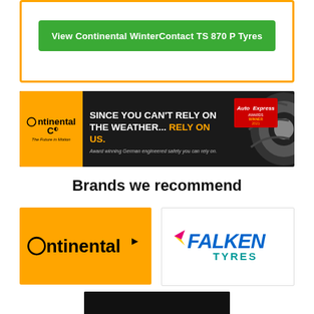[Figure (other): Green call-to-action button inside yellow-bordered card reading 'View Continental WinterContact TS 870 P Tyres']
[Figure (other): Continental advertisement banner with orange logo section, headline 'SINCE YOU CAN'T RELY ON THE WEATHER... RELY ON US.', Auto Express award badge, and tyre image]
Brands we recommend
[Figure (logo): Continental logo on orange background]
[Figure (logo): Falken Tyres logo on white background]
[Figure (logo): Third brand logo partially visible, black background with yellow stripe]